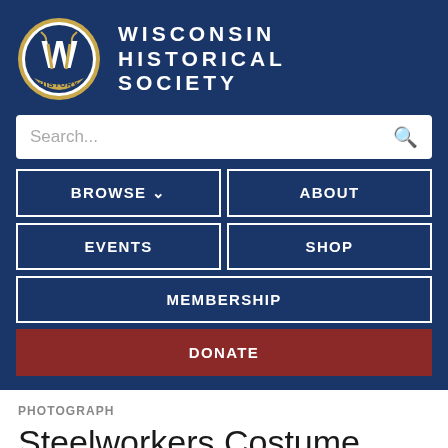[Figure (logo): Wisconsin Historical Society logo — circular badge with W and baseball design, 'HISTORY' text on banner]
WISCONSIN HISTORICAL SOCIETY
Search...
BROWSE ∨
ABOUT
EVENTS
SHOP
MEMBERSHIP
DONATE
PHOTOGRAPH
Steelworkers Costume Party Win...